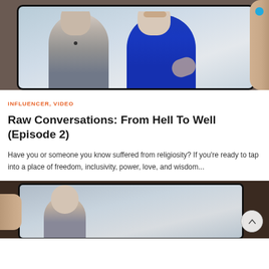[Figure (photo): A tablet/phone being held showing two people on screen — a man in a grey shirt with a lapel mic on the left and a woman in a blue blazer on the right. A hand holding the device is visible on the right edge with a blue circular element.]
INFLUENCER, VIDEO
Raw Conversations: From Hell To Well (Episode 2)
Have you or someone you know suffered from religiosity? If you're ready to tap into a place of freedom, inclusivity, power, love, and wisdom...
[Figure (photo): Bottom portion of a tablet/phone being held by a hand from the left, showing the beginning of a person on screen. A circular scroll-to-top arrow button appears in the lower right corner.]